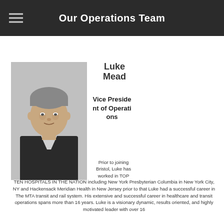Our Operations Team
[Figure (photo): Black and white headshot of Luke Mead, a young man in a suit jacket, smiling slightly at the camera]
Luke Mead
Vice President of Operations
Prior to joining Bristol, Luke has worked in TOP TEN HOSPITALS IN THE NATION including New York Presbyterian Columbia in New York City, NY and Hackensack Meridian Health in New Jersey prior to that Luke had a successful career in The MTA transit and rail system. His extensive and successful career in healthcare and transit operations spans more than 16 years. Luke is a visionary dynamic, results oriented, and highly motivated leader with over 16